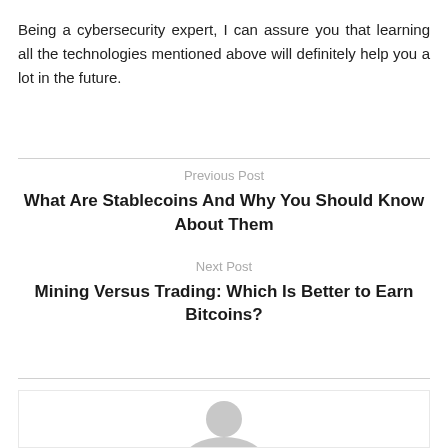Being a cybersecurity expert, I can assure you that learning all the technologies mentioned above will definitely help you a lot in the future.
Previous Post
What Are Stablecoins And Why You Should Know About Them
Next Post
Mining Versus Trading: Which Is Better to Earn Bitcoins?
[Figure (illustration): Partial avatar/profile icon placeholder image, grey silhouette on white background, cropped at bottom of page]